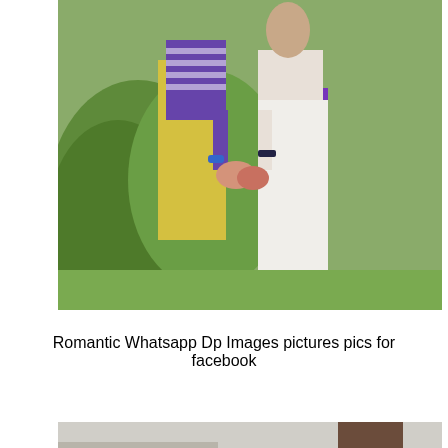[Figure (photo): A couple holding hands outdoors. The woman wears a striped purple top and yellow skirt; the man wears white trousers and a purple belt. Green bushes in the background.]
Romantic Whatsapp Dp Images pictures pics for facebook
[Figure (photo): A couple in an urban setting. A bearded young man and a woman wearing a beige hijab, standing near a large brown pillar with buildings in background.]